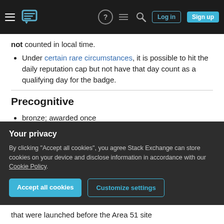Stack Exchange navigation bar with hamburger menu, logo, help, chat, search icons, Log in and Sign up buttons
not counted in local time.
Under certain rare circumstances, it is possible to hit the daily reputation cap but not have that day count as a qualifying day for the badge.
Precognitive
bronze; awarded once
Awarded to those who followed the Area 51 proposal for a particular Stack Exchange site before it entered the commitment phase, when
Your privacy
By clicking "Accept all cookies", you agree Stack Exchange can store cookies on your device and disclose information in accordance with our Cookie Policy.
that were launched before the Area 51 site